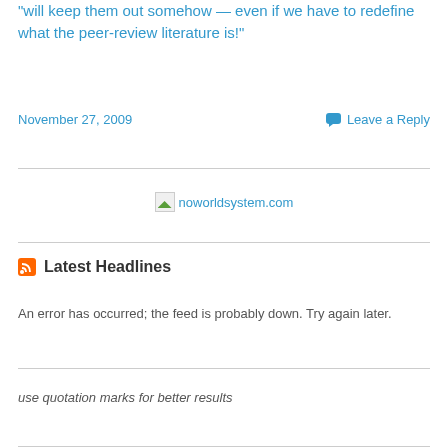"will keep them out somehow — even if we have to redefine what the peer-review literature is!"
November 27, 2009
Leave a Reply
[Figure (logo): noworldsystem.com logo with small image icon and text link]
Latest Headlines
An error has occurred; the feed is probably down. Try again later.
use quotation marks for better results